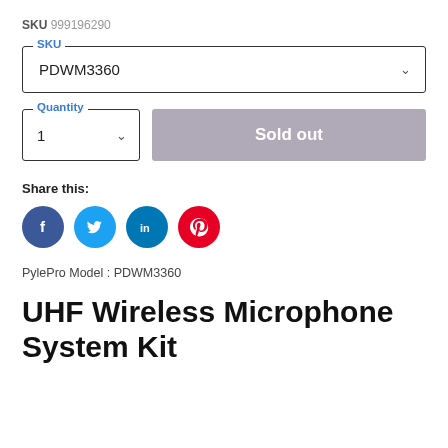SKU 999196290
SKU: PDWM3360
Quantity: 1
Sold out
Share this:
[Figure (other): Social share icons: Facebook (blue circle), Twitter (light blue circle), LinkedIn (dark blue circle), Pinterest (red circle)]
PylePro Model : PDWM3360
UHF Wireless Microphone System Kit